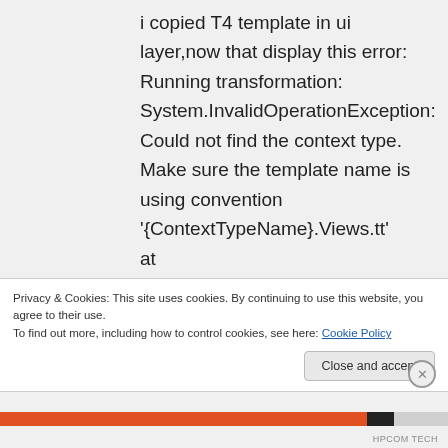i copied T4 template in ui layer,now that display this error: Running transformation: System.InvalidOperationException: Could not find the context type. Make sure the template name is using convention '{ContextTypeName}.Views.tt' at Microsoft.VisualStudio.TextTemplating12FE7562C614CB445E56AA372
Privacy & Cookies: This site uses cookies. By continuing to use this website, you agree to their use.
To find out more, including how to control cookies, see here: Cookie Policy
Close and accept